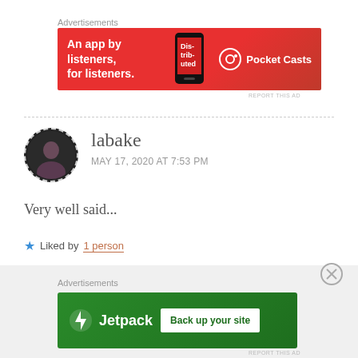[Figure (other): Pocket Casts advertisement banner with red background, text 'An app by listeners, for listeners.' and Pocket Casts logo]
labake
MAY 17, 2020 AT 7:53 PM
Very well said...
★ Liked by 1 person
Reply
[Figure (other): Jetpack advertisement banner with green background, Jetpack logo and 'Back up your site' button]